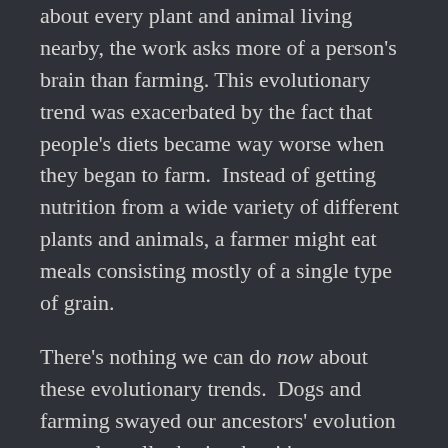about every plant and animal living nearby, the work asks more of a person's brain than farming. This evolutionary trend was exacerbated by the fact that people's diets became way worse when they began to farm.  Instead of getting nutrition from a wide variety of different plants and animals, a farmer might eat meals consisting mostly of a single type of grain.
There's nothing we can do now about these evolutionary trends.  Dogs and farming swayed our ancestors' evolution toward smaller brains, but it's not as though you can get those neurons back by deciding to take up hunting, or never living with a pet.
But, honestly, our brains are so plastic that our genetic heritage matters less than how we choose